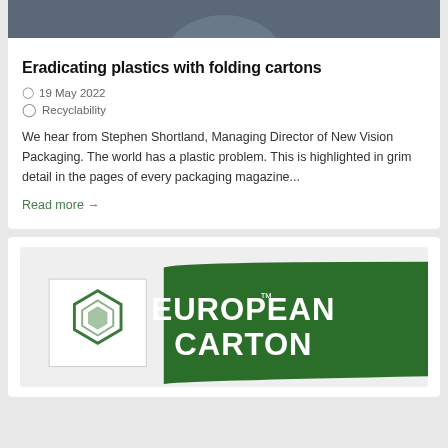[Figure (photo): Partial photo of a person at top of first card, dark/navy tones]
Eradicating plastics with folding cartons
19 May 2022
Recyclability
We hear from Stephen Shortland, Managing Director of New Vision Packaging. The world has a plastic problem. This is highlighted in grim detail in the pages of every packaging magazine...
Read more →
[Figure (logo): European Carton logo — green banner with white text EUROPEAN CARTON, with a hexagonal green icon to the left]